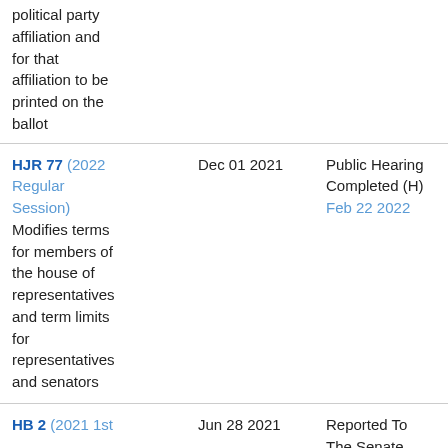political party affiliation and for that affiliation to be printed on the ballot
HJR 77 (2022 Regular Session) Modifies terms for members of the house of representatives and term limits for representatives and senators
Dec 01 2021
Public Hearing Completed (H) Feb 22 2022
HB 2 (2021 1st
Jun 28 2021
Reported To The Senate